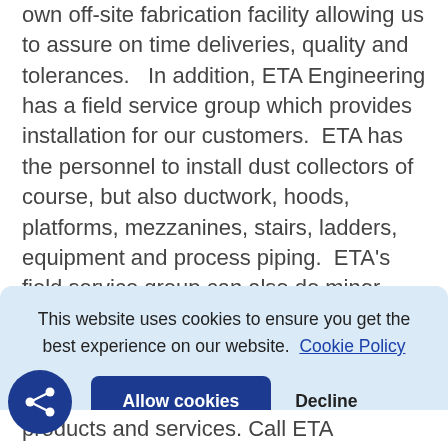own off-site fabrication facility allowing us to assure on time deliveries, quality and tolerances.   In addition, ETA Engineering has a field service group which provides installation for our customers.  ETA has the personnel to install dust collectors of course, but also ductwork, hoods, platforms, mezzanines, stairs, ladders, equipment and process piping.  ETA's field service group can also do minor repair work and ductwork balancing.  Whether your air pollution control system is an ETA Engineering system or not, our field service
This website uses cookies to ensure you get the best experience on our website.  Cookie Policy
Allow cookies
Decline
products and services. Call ETA